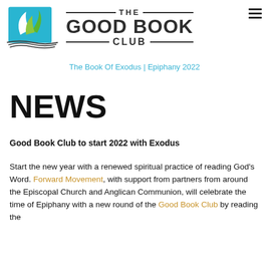[Figure (logo): The Good Book Club logo: open book with green and white leaf silhouettes on teal/blue square background, with wavy lines beneath suggesting pages]
THE GOOD BOOK CLUB
The Book Of Exodus | Epiphany 2022
NEWS
Good Book Club to start 2022 with Exodus
Start the new year with a renewed spiritual practice of reading God’s Word. Forward Movement, with support from partners from around the Episcopal Church and Anglican Communion, will celebrate the time of Epiphany with a new round of the Good Book Club by reading the